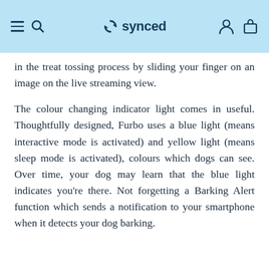synced
in the treat tossing process by sliding your finger on an image on the live streaming view.
The colour changing indicator light comes in useful. Thoughtfully designed, Furbo uses a blue light (means interactive mode is activated) and yellow light (means sleep mode is activated), colours which dogs can see. Over time, your dog may learn that the blue light indicates you're there. Not forgetting a Barking Alert function which sends a notification to your smartphone when it detects your dog barking.